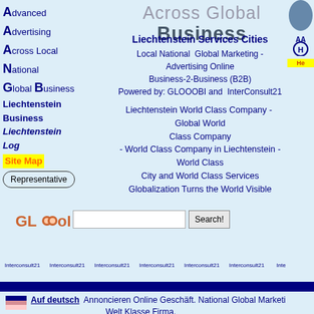Advanced
Advertising
Across Local
National
Global Business
Liechtenstein Business
Liechtenstein Log
Site Map
Representative
Across Global Business
Liechtenstein Services Cities
Local National  Global Marketing - Advertising Online Business-2-Business (B2B) Powered by: GLOOOBI and  InterConsult21
Liechtenstein World Class Company -  Global World Class Company - World Class Company in Liechtenstein - World Class City and World Class Services Globalization Turns the World Visible
[Figure (logo): Glooobi logo with search input and Search! button]
[Figure (illustration): Row of Interconsult21 globe logos with blue bar]
Auf deutsch  Annoncieren Online Geschäft. National Global Marketing Welt Klasse Firma.